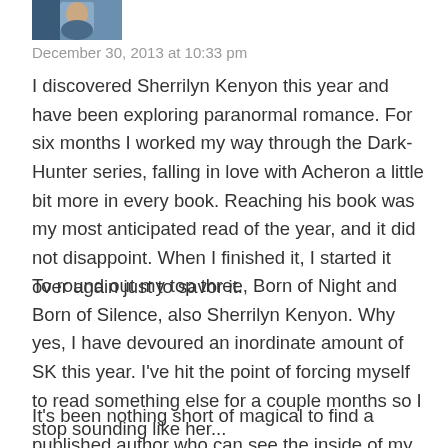[Figure (photo): Partial photo of a person at the top left corner, cropped]
December 30, 2013 at 10:33 pm
I discovered Sherrilyn Kenyon this year and have been exploring paranormal romance. For six months I worked my way through the Dark-Hunter series, falling in love with Acheron a little bit more in every book. Reaching his book was my most anticipated read of the year, and it did not disappoint. When I finished it, I started it over again just to savor it.
To round out my top three, Born of Night and Born of Silence, also Sherrilyn Kenyon. Why yes, I have devoured an inordinate amount of SK this year. I've hit the point of forcing myself to read something else for a couple months so I stop sounding like her...
It's been nothing short of magical to find a published author who can see the inside of my brain and give me